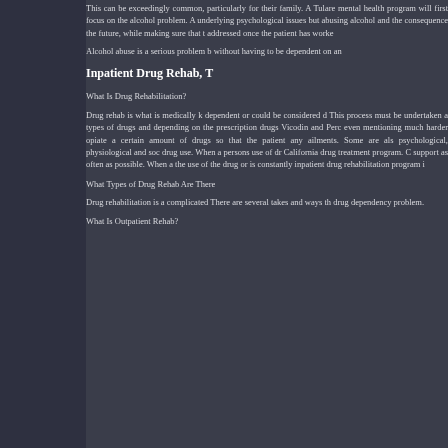This can be exceedingly common, particularly for their family. A Tulare mental health program will first focus on the alcohol problem. Addressing underlying psychological issues but discussing abusing alcohol and the consequences it has in the future, while making sure that they are addressed once the patient has worked...
Alcohol abuse is a serious problem but you can live without having to be dependent on an...
Inpatient Drug Rehab, T...
What Is Drug Rehabilitation?
Drug rehab is what is medically known as dependent or could be considered d... This process must be undertaken at... types of drugs and depending on the... prescription drugs Vicodin and Perc... even mentioning much harder opiate... a certain amount of drugs so that the... patient any ailments. Some are als... psychological, physiological and soc... drug use. When a persons use of dr... California drug treatment program. C... support as often as possible. When a... the use of the drug or is constantly... inpatient drug rehabilitation program i...
What Types of Drug Rehab Are There...
Drug rehabilitation is a complicated... There are several takes and ways th... drug dependency problem.
What Is Outpatient Rehab?